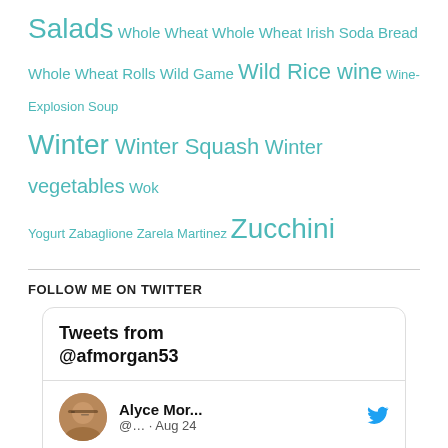Salads Whole Wheat Whole Wheat Irish Soda Bread Whole Wheat Rolls Wild Game Wild Rice wine Wine-Explosion Soup Winter Winter Squash Winter vegetables Wok Yogurt Zabaglione Zarela Martinez Zucchini
FOLLOW ME ON TWITTER
[Figure (screenshot): Twitter widget showing tweets from @afmorgan53. Includes a tweet by Alyce Mor... dated Aug 24 reading 'Buy the 99c drumsticks at COSTCO and enjoy your Cheep Eats! moretimeatthetable.com/20']